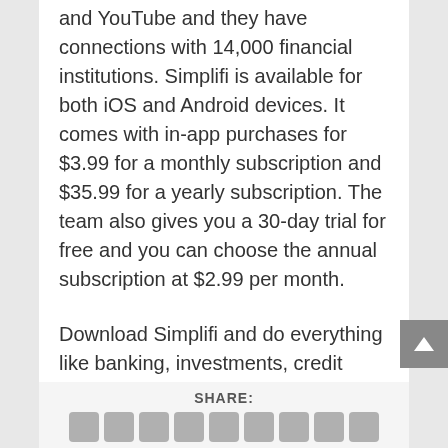and YouTube and they have connections with 14,000 financial institutions. Simplifi is available for both iOS and Android devices. It comes with in-app purchases for $3.99 for a monthly subscription and $35.99 for a yearly subscription. The team also gives you a 30-day trial for free and you can choose the annual subscription at $2.99 per month.
Download Simplifi and do everything like banking, investments, credit cards and more from one place.
Worth Having App – Download the App
SHARE: